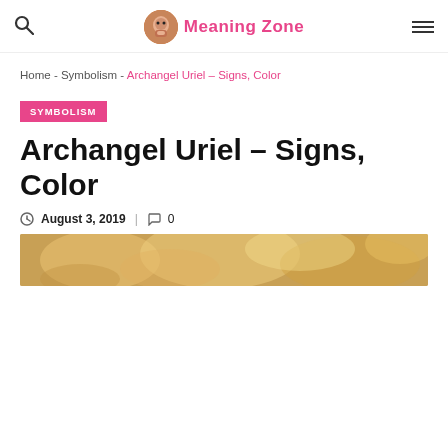Meaning Zone
Home - Symbolism - Archangel Uriel – Signs, Color
SYMBOLISM
Archangel Uriel – Signs, Color
August 3, 2019 | 0
[Figure (photo): Golden/amber toned decorative image related to Archangel Uriel article]